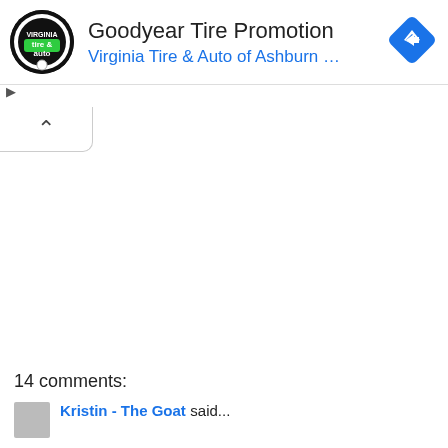[Figure (screenshot): Advertisement banner for Goodyear Tire Promotion by Virginia Tire & Auto of Ashburn, with a circular logo on the left and a blue diamond navigation icon on the right. Below the banner is a collapse button with an upward chevron. The bottom of the page shows '14 comments:' and a comment by 'Kristin - The Goat said...' with a partially visible avatar.]
14 comments:
Kristin - The Goat said...